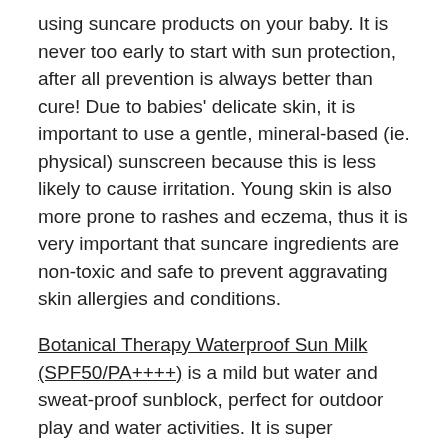using suncare products on your baby. It is never too early to start with sun protection, after all prevention is always better than cure! Due to babies' delicate skin, it is important to use a gentle, mineral-based (ie. physical) sunscreen because this is less likely to cause irritation. Young skin is also more prone to rashes and eczema, thus it is very important that suncare ingredients are non-toxic and safe to prevent aggravating skin allergies and conditions.
Botanical Therapy Waterproof Sun Milk (SPF50/PA++++) is a mild but water and sweat-proof sunblock, perfect for outdoor play and water activities. It is super lightweight without leaving any tacky or sticky feeling after application. For quick, effortless suncare protection on the face, opt for Botanical Therapy Washable Sun Pact (SPF37/PA++). This face sun pact can be easily removed with water without leaving any traces of residue behind.